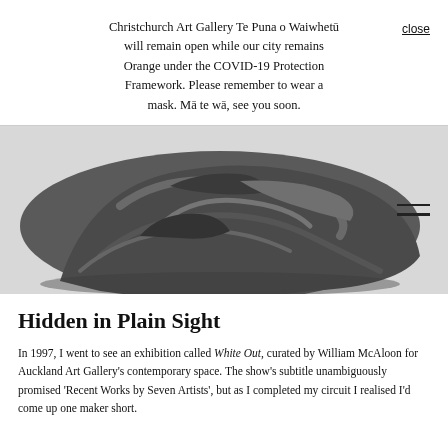Christchurch Art Gallery Te Puna o Waiwhetū will remain open while our city remains Orange under the COVID-19 Protection Framework. Please remember to wear a mask. Mā te wā, see you soon.
[Figure (photo): Close-up photograph of a dark grey crumpled or folded fabric/object on a light grey background. A hamburger menu icon (two horizontal lines) appears in the upper right area of the image.]
Hidden in Plain Sight
In 1997, I went to see an exhibition called White Out, curated by William McAloon for Auckland Art Gallery's contemporary space. The show's subtitle unambiguously promised 'Recent Works by Seven Artists', but as I completed my circuit I realised I'd come up one maker short.